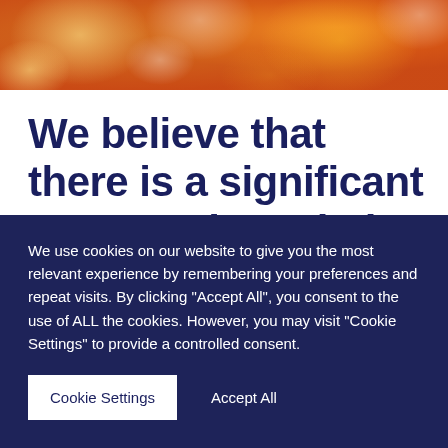[Figure (illustration): Abstract orange and warm-toned watercolor/bokeh background image spanning the top of the page]
We believe that there is a significant opportunity to help improve mental
We use cookies on our website to give you the most relevant experience by remembering your preferences and repeat visits. By clicking "Accept All", you consent to the use of ALL the cookies. However, you may visit "Cookie Settings" to provide a controlled consent.
Cookie Settings   Accept All